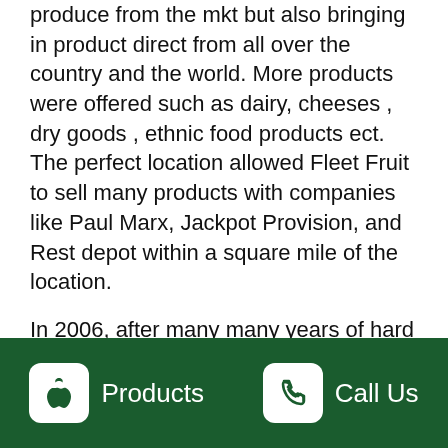produce from the mkt but also bringing in product direct from all over the country and the world. More products were offered such as dairy, cheeses , dry goods , ethnic food products ect. The perfect location allowed Fleet Fruit to sell many products with companies like Paul Marx, Jackpot Provision, and Rest depot within a square mile of the location.
In 2006, after many many years of hard work and commitment . Joe and Gerry walked away from the business and turned it over to their sons Joey and John who pretty much had already been running the business for a few years.
Joey and John although cousins are more like brothers and have been together ever since continuing
Products   Call Us